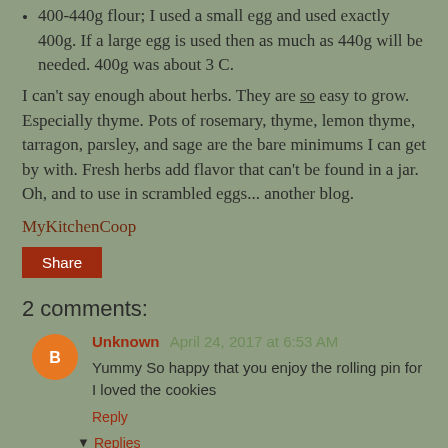400-440g flour; I used a small egg and used exactly 400g. If a large egg is used then as much as 440g will be needed. 400g was about 3 C.
I can't say enough about herbs. They are so easy to grow. Especially thyme. Pots of rosemary, thyme, lemon thyme, tarragon, parsley, and sage are the bare minimums I can get by with. Fresh herbs add flavor that can't be found in a jar. Oh, and to use in scrambled eggs... another blog.
MyKitchenCoop
Share
2 comments:
Unknown April 24, 2017 at 6:53 AM
Yummy So happy that you enjoy the rolling pin for I loved the cookies
Reply
Replies